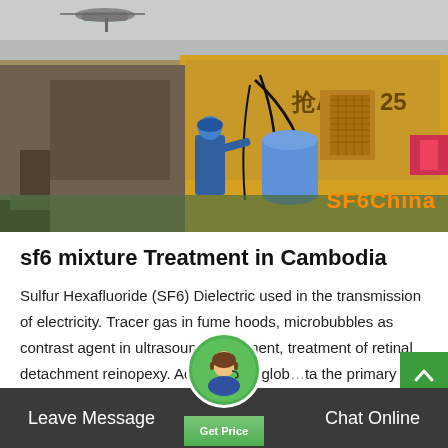[Figure (photo): Industrial scene showing a worker in blue hard hat operating equipment near a large yellow truck/vehicle. Heavy cables and industrial equipment visible. Chinese characters on the truck. SF6China watermark in orange at bottom right.]
sf6 mixture Treatment in Cambodia
Sulfur Hexafluoride (SF6) Dielectric used in the transmission of electricity. Tracer gas in fume hoods, microbubbles as contrast agent in ultrasound equipment, treatment of retinal detachment reinopexy. According to glob...ta the primary global...
Leave Message   Chat Online